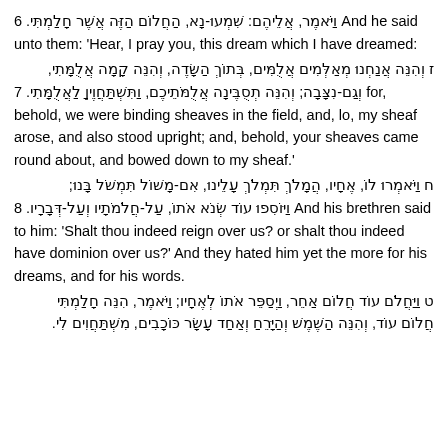6 וַיֹּאמֶר, אֲלֵיהֶם: שִׁמְעוּ-נָא, הַחֲלוֹם הַזֶּה אֲשֶׁר חָלָמְתִּי. And he said unto them: 'Hear, I pray you, this dream which I have dreamed:
ז וְהִנֵּה אֲנַחְנוּ מְאַלְּמִים אֲלֻמִּים, בְּתוֹךְ הַשָּׂדֶה, וְהִנֵּה קָמָה אֲלֻמָּתִי, וְגַם-נִצָּבָה; וְהִנֵּה תְסֻבֶּינָה אֲלֻמֹּתֵיכֶם, וַתִּשְׁתַּחֲוֶיןָ לַאֲלֻמָּתִי. 7 for, behold, we were binding sheaves in the field, and, lo, my sheaf arose, and also stood upright; and, behold, your sheaves came round about, and bowed down to my sheaf.'
ח וַיֹּאמְרוּ לוֹ, אֶחָיו, הֲמָלֹךְ תִּמְלֹךְ עָלֵינוּ, אִם-מָשׁוֹל תִּמְשֹׁל בָּנוּ; וַיּוֹסִפוּ עוֹד שְׂנֹא אֹתוֹ, עַל-חֲלֹמֹתָיו וְעַל-דְּבָרָיו. 8 And his brethren said to him: 'Shalt thou indeed reign over us? or shalt thou indeed have dominion over us?' And they hated him yet the more for his dreams, and for his words.
ט וַיַּחֲלֹם עוֹד חֲלוֹם אַחֵר, וַיְסַפֵּר אֹתוֹ לְאֶחָיו; וַיֹּאמֶר, הִנֵּה חָלַמְתִּי חֲלוֹם עוֹד, וְהִנֵּה הַשֶּׁמֶשׁ וְהַיָּרֵחַ וְאַחַד עָשָׂר כּוֹכָבִים, מִשְׁתַּחֲוִים לִי.